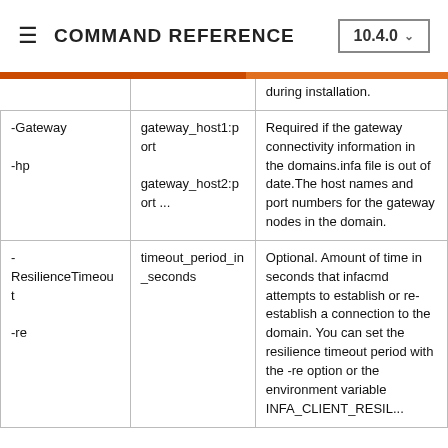COMMAND REFERENCE  10.4.0
| Option | Argument | Description |
| --- | --- | --- |
|  |  | during installation. |
| -Gateway
-hp | gateway_host1:port
gateway_host2:port ... | Required if the gateway connectivity information in the domains.infa file is out of date. The host names and port numbers for the gateway nodes in the domain. |
| -ResilienceTimeout
-re | timeout_period_in_seconds | Optional. Amount of time in seconds that infacmd attempts to establish or re-establish a connection to the domain. You can set the resilience timeout period with the -re option or the environment variable INFA_CLIENT_RESIL... |